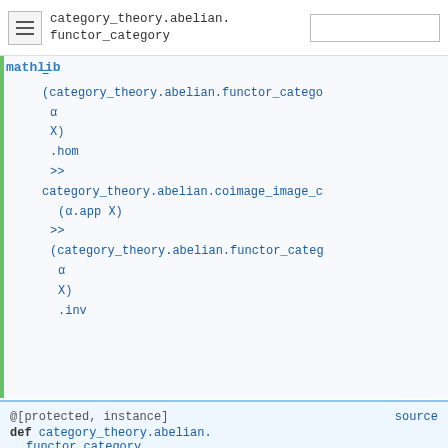≡  category_theory.abelian.
functor_category
mathlib
= (category_theory.abelian.functor_category
  α
  X)
  .hom
  ≫
  category_theory.abelian.coimage_image_c
  (α.app X)
  ≫
  (category_theory.abelian.functor_categ
  α
  X)
  .inv
@[protected, instance]   source
def category_theory.abelian.
     functor_category.